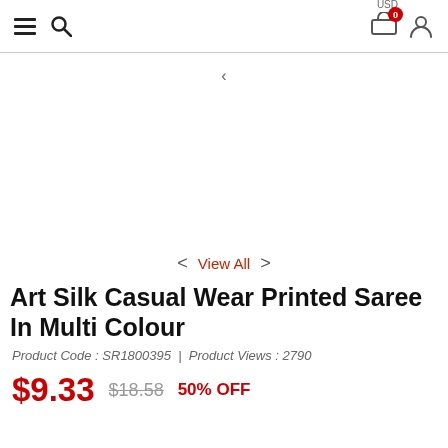Navigation bar with menu, search, cart (0), USD, user icon
[Figure (other): Product image area (blank/white) with a small left chevron arrow near top center]
< View All >
Art Silk Casual Wear Printed Saree In Multi Colour
Product Code : SR1800395  |  Product Views : 2790
$9.33  $18.58  50% OFF